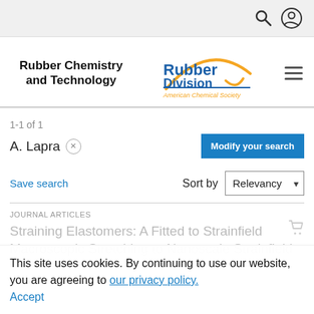[Figure (screenshot): Top navigation bar with search and user icons]
Rubber Chemistry and Technology
[Figure (logo): Rubber Division American Chemical Society logo with gold arc and blue text]
1-1 of 1
A. Lapra ×
Modify your search
Save search
Sort by Relevancy
JOURNAL ARTICLES
This site uses cookies. By continuing to use our website, you are agreeing to our privacy policy. Accept